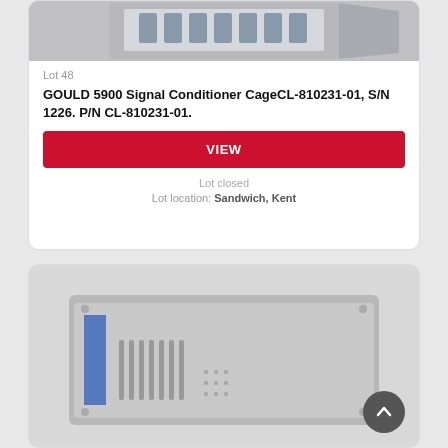[Figure (photo): Partial view of a GOULD 5900 Signal Conditioner Cage device, top card cropped image]
Lot 48
GOULD 5900 Signal Conditioner CageCL-810231-01, S/N 1226. P/N CL-810231-01.
VIEW
Lot closed
Lot location: Sandwich, Kent
[Figure (photo): Photo of a grey rack-mount electronic instrument, likely the GOULD 5900 Signal Conditioner Cage]